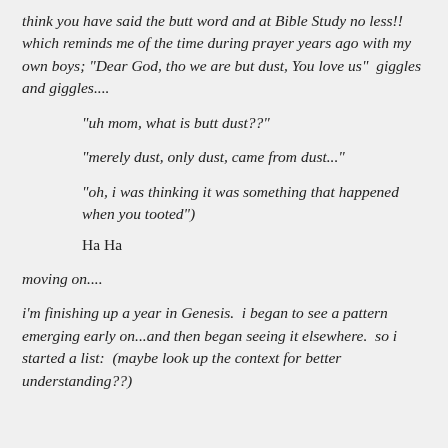think you have said the butt word and at Bible Study no less!!  which reminds me of the time during prayer years ago with my own boys; "Dear God, tho we are but dust, You love us"  giggles and giggles....
"uh mom, what is butt dust??"
"merely dust, only dust, came from dust..."
"oh, i was thinking it was something that happened when you tooted")
Ha Ha
moving on....
i'm finishing up a year in Genesis.  i began to see a pattern emerging early on...and then began seeing it elsewhere.  so i started a list:  (maybe look up the context for better understanding??)